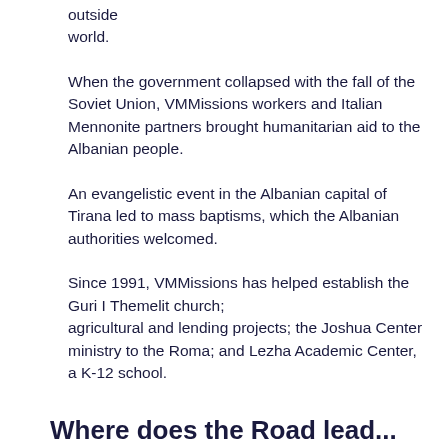outside world.
When the government collapsed with the fall of the Soviet Union, VMMissions workers and Italian Mennonite partners brought humanitarian aid to the Albanian people.
An evangelistic event in the Albanian capital of Tirana led to mass baptisms, which the Albanian authorities welcomed.
Since 1991, VMMissions has helped establish the Guri I Themelit church; agricultural and lending projects; the Joshua Center ministry to the Roma; and Lezha Academic Center, a K-12 school.
Where does the Road lead...